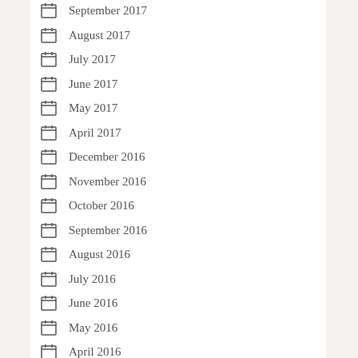September 2017
August 2017
July 2017
June 2017
May 2017
April 2017
December 2016
November 2016
October 2016
September 2016
August 2016
July 2016
June 2016
May 2016
April 2016
March 2016